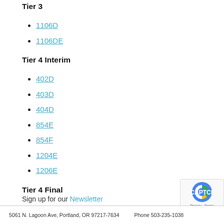Tier 3
1106D
1106DE
Tier 4 Interim
402D
403D
404D
854E
854F
1204E
1206E
Tier 4 Final
404F
1206F
Sign up for our Newsletter
5061 N. Lagoon Ave, Portland, OR 97217-7634    Phone 503-235-1038